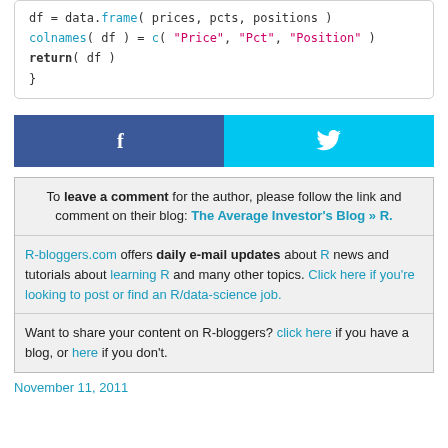[Figure (other): Facebook and Twitter share buttons side by side]
To leave a comment for the author, please follow the link and comment on their blog: The Average Investor's Blog » R.
R-bloggers.com offers daily e-mail updates about R news and tutorials about learning R and many other topics. Click here if you're looking to post or find an R/data-science job.
Want to share your content on R-bloggers? click here if you have a blog, or here if you don't.
November 11, 2011